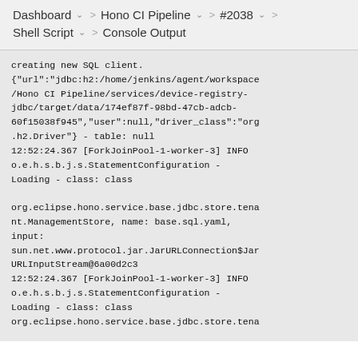Dashboard > Hono CI Pipeline > #2038 > Shell Script > Console Output
creating new SQL client.
{"url":"jdbc:h2:/home/jenkins/agent/workspace/Hono CI Pipeline/services/device-registry-jdbc/target/data/174ef87f-98bd-47cb-adcb-60f15038f945","user":null,"driver_class":"org.h2.Driver"} - table: null
12:52:24.367 [ForkJoinPool-1-worker-3] INFO o.e.h.s.b.j.s.StatementConfiguration - Loading - class: class org.eclipse.hono.service.base.jdbc.store.tenant.ManagementStore, name: base.sql.yaml, input: sun.net.www.protocol.jar.JarURLConnection$JarURLInputStream@6a00d2c3
12:52:24.367 [ForkJoinPool-1-worker-3] INFO o.e.h.s.b.j.s.StatementConfiguration - Loading - class: class org.eclipse.hono.service.base.jdbc.store.tena